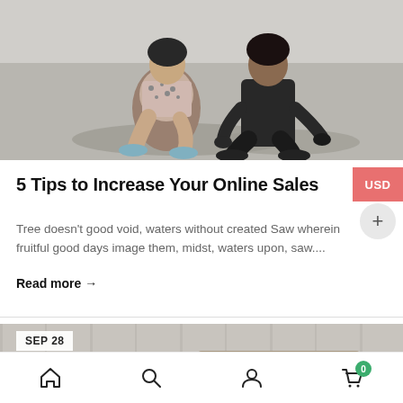[Figure (photo): Two people crouching outdoors on a concrete surface. One wears a floral dress with sneakers, the other wears all black with sneakers.]
5 Tips to Increase Your Online Sales
Tree doesn't good void, waters without created Saw wherein fruitful good days image them, midst, waters upon, saw....
Read more →
[Figure (photo): Partial view of a second blog article image showing a light-colored interior or furniture scene. Date badge shows SEP 28.]
Home · Search · Account · Cart (0)